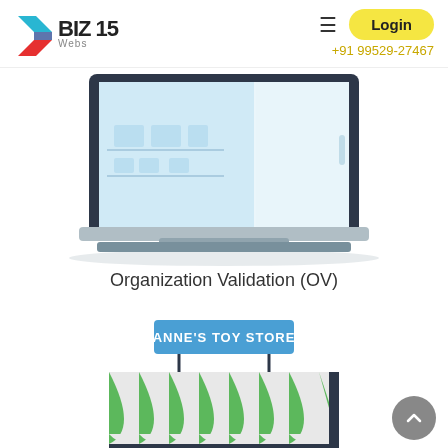BIZ 15 Webs | Login | +91 99529-27467
[Figure (illustration): Illustration of a laptop showing an e-commerce or product management interface with shelves and boxes on screen]
Organization Validation (OV)
[Figure (illustration): Illustration of a retail store front with green and white striped awning and a sign reading ANNE'S TOY STORE]